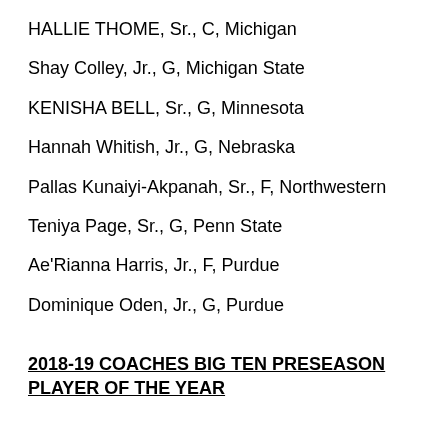HALLIE THOME, Sr., C, Michigan
Shay Colley, Jr., G, Michigan State
KENISHA BELL, Sr., G, Minnesota
Hannah Whitish, Jr., G, Nebraska
Pallas Kunaiyi-Akpanah, Sr., F, Northwestern
Teniya Page, Sr., G, Penn State
Ae'Rianna Harris, Jr., F, Purdue
Dominique Oden, Jr., G, Purdue
2018-19 COACHES BIG TEN PRESEASON PLAYER OF THE YEAR